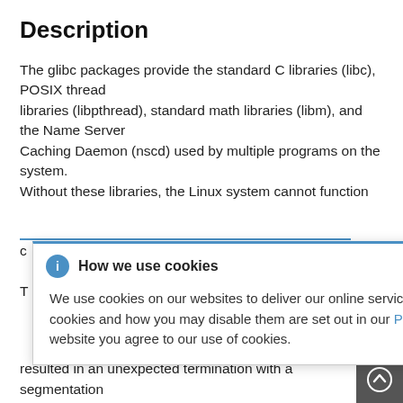Description
The glibc packages provide the standard C libraries (libc), POSIX thread libraries (libpthread), standard math libraries (libm), and the Name Server Caching Daemon (nscd) used by multiple programs on the system.
Without these libraries, the Linux system cannot function c
T ... ble to handle
c ... specific virtual a
[Figure (screenshot): Cookie consent modal popup with blue top border, info icon, title 'How we use cookies', close button (×), and body text about cookie usage with a Privacy Statement link]
resulted in an unexpected termination with a segmentation